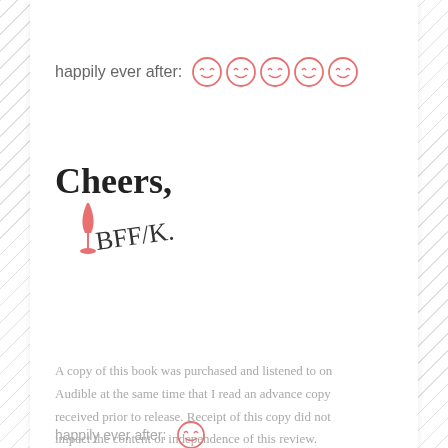happily ever after: [5 smiley face rating icons]
[Figure (illustration): Handwritten 'Cheers,' with a red wine glass icon and handwritten signature 'BFF/K.']
A copy of this book was purchased and listened to on Audible at the same time that I read an advance copy received prior to release. Receipt of this copy did not impact the content or independence of this review.
happily ever after: [1 smiley face icon - partially visible]